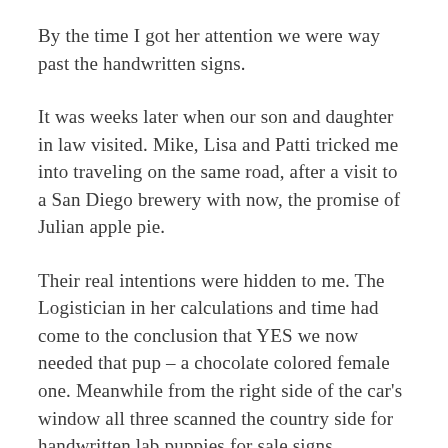By the time I got her attention we were way past the handwritten signs.
It was weeks later when our son and daughter in law visited. Mike, Lisa and Patti tricked me into traveling on the same road, after a visit to a San Diego brewery with now, the promise of Julian apple pie.
Their real intentions were hidden to me. The Logistician in her calculations and time had come to the conclusion that YES we now needed that pup – a chocolate colored female one. Meanwhile from the right side of the car's window all three scanned the country side for handwritten lab puppies for sale signs. Suddenly Mike spots a sign; I quickly reacted and drove across a hand built bridge onto a farm with a horse corral and a painted pony galloping